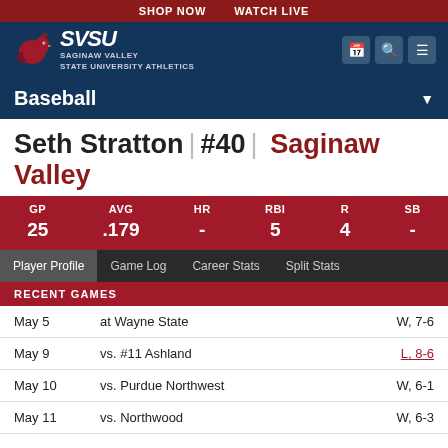SHOP NOW   WATCH LIVE
[Figure (logo): SVSU cardinal logo with text SAGINAW VALLEY STATE UNIVERSITY ATHLETICS]
Baseball
Seth Stratton | #40 | Saginaw Valley
| GP | AVG | HR | RBI | R | SB |
| --- | --- | --- | --- | --- | --- |
| 25 | .179 | - | 5 | 4 | - |
Player Profile   Game Log   Career Stats   Split Stats
RECENT GAMES
| Date | Opponent | Result |
| --- | --- | --- |
| May 5 | at Wayne State | W, 7-6 |
| May 9 | vs. #11 Ashland | L, 8-6 |
| May 10 | vs. Purdue Northwest | W, 6-1 |
| May 11 | vs. Northwood | W, 6-3 |